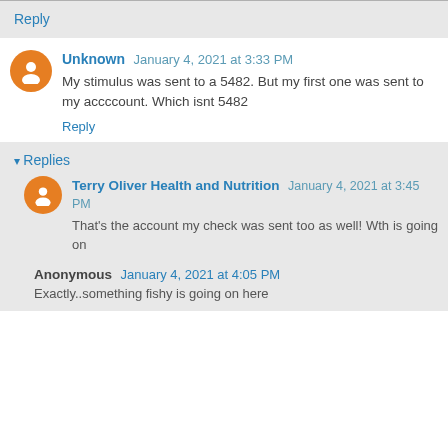Reply
Unknown  January 4, 2021 at 3:33 PM
My stimulus was sent to a 5482. But my first one was sent to my accccount. Which isnt 5482
Reply
Replies
Terry Oliver Health and Nutrition  January 4, 2021 at 3:45 PM
That’s the account my check was sent too as well! Wth is going on
Anonymous  January 4, 2021 at 4:05 PM
Exactly..something fishy is going on here